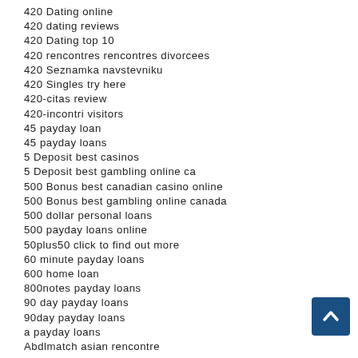420 Dating online
420 dating reviews
420 Dating top 10
420 rencontres rencontres divorcees
420 Seznamka navstevniku
420 Singles try here
420-citas review
420-incontri visitors
45 payday loan
45 payday loans
5 Deposit best casinos
5 Deposit best gambling online ca
500 Bonus best canadian casino online
500 Bonus best gambling online canada
500 dollar personal loans
500 payday loans online
50plus50 click to find out more
60 minute payday loans
600 home loan
800notes payday loans
90 day payday loans
90day payday loans
a payday loans
Abdlmatch asian rencontre